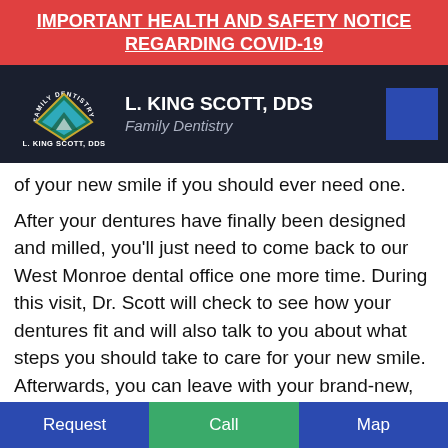IMPORTANT HEALTH AND SAFETY NOTICE REGARDING COVID-19
[Figure (logo): L. King Scott DDS Family Dentistry logo with diamond shape and dark header bar]
of your new smile if you should ever need one.
After your dentures have finally been designed and milled, you'll just need to come back to our West Monroe dental office one more time. During this visit, Dr. Scott will check to see how your dentures fit and will also talk to you about what steps you should take to care for your new smile. Afterwards, you can leave with your brand-new, aesthetically pleasing and functional smile in place and ready to use. Please contact us if you're interested
Request | Call | Map